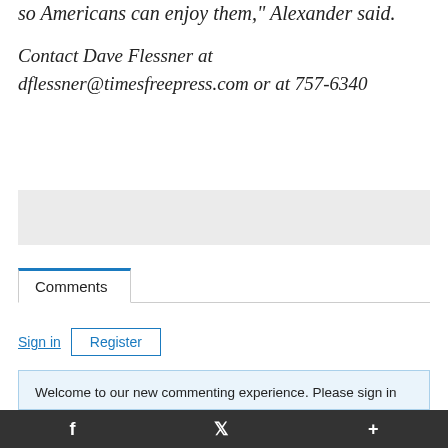so Americans can enjoy them," Alexander said.
Contact Dave Flessner at dflessner@timesfreepress.com or at 757-6340
[Figure (other): Gray advertisement placeholder box]
Comments
Sign in   Register
Welcome to our new commenting experience. Please sign in above using your Times Free Press login credentials to begin sharing your thoughts and opinion. If you're already logged into the site, the sign in form will update your information automatically.
f  Twitter  +